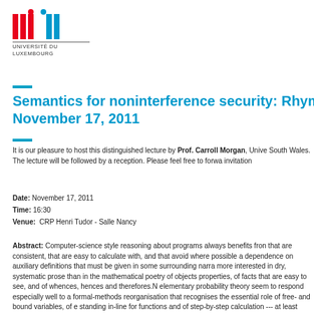[Figure (logo): uni.lu logo with red and blue stylized pillars, followed by 'UNIVERSITÉ DU LUXEMBOURG' text]
Semantics for noninterference security: Rhym... November 17, 2011
It is our pleasure to host this distinguished lecture by Prof. Carroll Morgan, Unive... South Wales. The lecture will be followed by a reception. Please feel free to forwa... invitation
Date: November 17, 2011
Time: 16:30
Venue: CRP Henri Tudor - Salle Nancy
Abstract: Computer-science style reasoning about programs always benefits fron... that are consistent, that are easy to calculate with, and that avoid where possible a... dependence on auxiliary definitions that must be given in some surrounding narra... more interested in dry, systematic prose than in the mathematical poetry of objects... properties, of facts that are easy to see, and of whences, hences and therefores.N... elementary probability theory seem to respond especially well to a formal-methods... reorganisation that recognises the essential role of free- and bound variables, of e... standing in-line for functions and of step-by-step calculation --- at least when the p... are applied to program semantics. In this talk I will present an alternative notation...